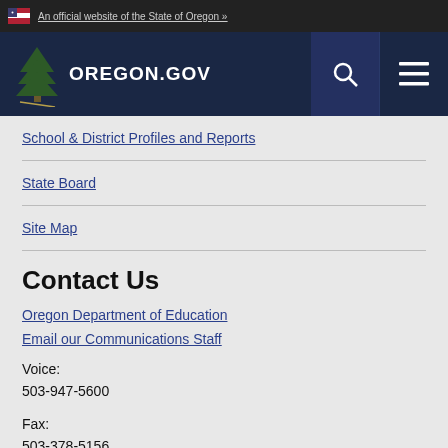An official website of the State of Oregon »
[Figure (logo): Oregon.gov logo with pine tree and Oregon state branding on dark navy background with search and menu icons]
School & District Profiles and Reports
State Board
Site Map
Contact Us
Oregon Department of Education
Email our Communications Staff
Voice:
503-947-5600
Fax:
503-378-5156
255 Capitol Street NE